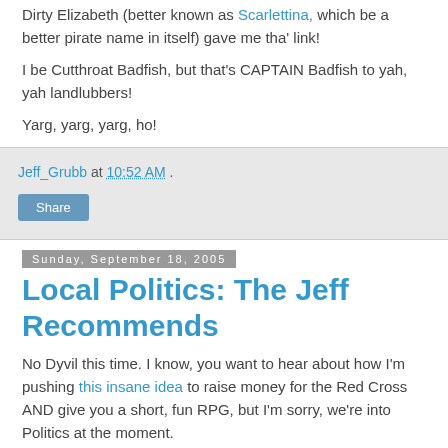Dirty Elizabeth (better known as Scarlettina, which be a better pirate name in itself) gave me tha' link!
I be Cutthroat Badfish, but that's CAPTAIN Badfish to yah, yah landlubbers!
Yarg, yarg, yarg, ho!
Jeff_Grubb at 10:52 AM
Share
Sunday, September 18, 2005
Local Politics: The Jeff Recommends
No Dyvil this time. I know, you want to hear about how I'm pushing this insane idea to raise money for the Red Cross AND give you a short, fun RPG, but I'm sorry, we're into Politics at the moment.